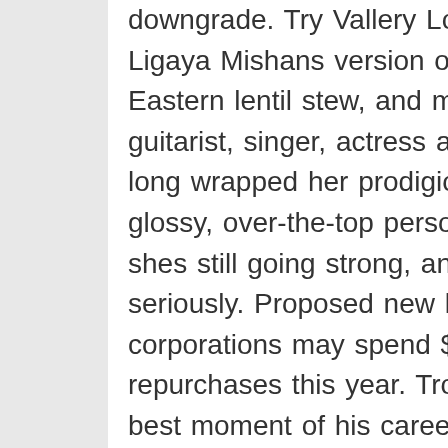downgrade. Try Vallery Lomass fish and grits, Ligaya Mishans version of a classic Middle Eastern lentil stew, and more recipes. The guitarist, singer, actress and comedian has long wrapped her prodigious talents in a glossy, over-the-top persona. Decades later, shes still going strong, and its time to take her seriously. Proposed new limits come as corporations may spend $1 trillion on stock repurchases this year. Troy Parrott enjoyed the best moment of his career as he fired the Republic of Ireland to a last-gasp victory over Lithuania. Paul Herman has died at the age of 76, passing away on his birthday. The appeal - organised by Dr John Puntis, retired consultant paediatrician and co-chair of Keep Our NHS Public - is calling on Boris Johnson to ditch the plan to stop offering free lateral flows in England. Roger Alton and comprar tableta minesse en linea his tour group set out to discover the 'unseen sides' of Ibiza. He